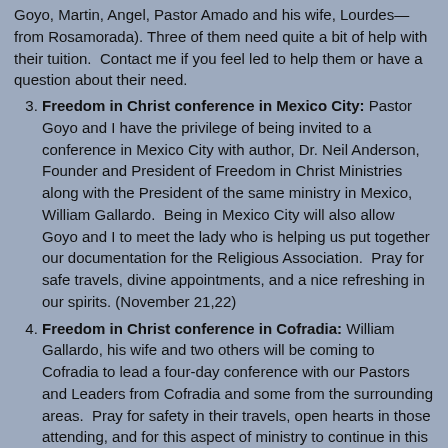Goyo, Martin, Angel, Pastor Amado and his wife, Lourdes—from Rosamorada). Three of them need quite a bit of help with their tuition. Contact me if you feel led to help them or have a question about their need.
Freedom in Christ conference in Mexico City: Pastor Goyo and I have the privilege of being invited to a conference in Mexico City with author, Dr. Neil Anderson, Founder and President of Freedom in Christ Ministries along with the President of the same ministry in Mexico, William Gallardo. Being in Mexico City will also allow Goyo and I to meet the lady who is helping us put together our documentation for the Religious Association. Pray for safe travels, divine appointments, and a nice refreshing in our spirits. (November 21,22)
Freedom in Christ conference in Cofradia: William Gallardo, his wife and two others will be coming to Cofradia to lead a four-day conference with our Pastors and Leaders from Cofradia and some from the surrounding areas. Pray for safety in their travels, open hearts in those attending, and for this aspect of ministry to continue in this area; we want to see people free in Christ! (December 17 – 20)
Drug Rehab Center: The government in Rosamorada has seen the testimony of Pastor Amado and how his life has dramatically changed and they are extremely excited to